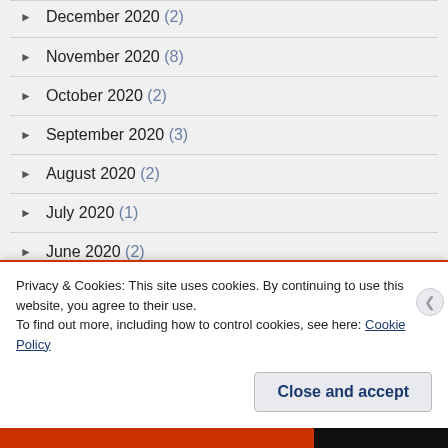December 2020 (2)
November 2020 (8)
October 2020 (2)
September 2020 (3)
August 2020 (2)
July 2020 (1)
June 2020 (2)
May 2020 (1)
March 2020 (2)
Privacy & Cookies: This site uses cookies. By continuing to use this website, you agree to their use.
To find out more, including how to control cookies, see here: Cookie Policy
Close and accept